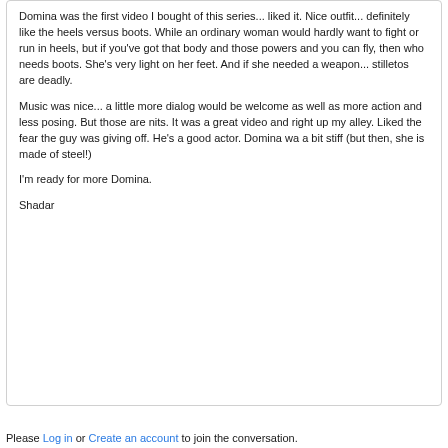Domina was the first video I bought of this series... liked it. Nice outfit... definitely like the heels versus boots. While an ordinary woman would hardly want to fight or run in heels, but if you've got that body and those powers and you can fly, then who needs boots. She's very light on her feet. And if she needed a weapon... stilletos are deadly.
Music was nice... a little more dialog would be welcome as well as more action and less posing. But those are nits. It was a great video and right up my alley. Liked the fear the guy was giving off. He's a good actor. Domina wa a bit stiff (but then, she is made of steel!)
I'm ready for more Domina.
Shadar
Please Log in or Create an account to join the conversation.